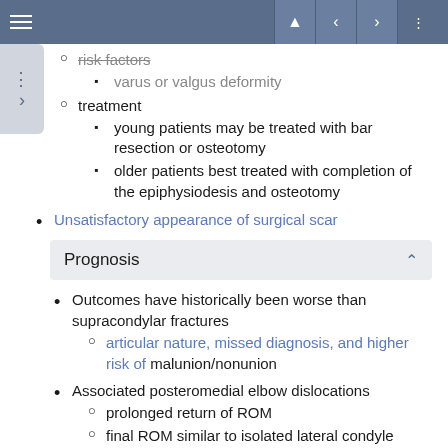risk factors
varus or valgus deformity
treatment
young patients may be treated with bar resection or osteotomy
older patients best treated with completion of the epiphysiodesis and osteotomy
Unsatisfactory appearance of surgical scar
Prognosis
Outcomes have historically been worse than supracondylar fractures
articular nature, missed diagnosis, and higher risk of malunion/nonunion
Associated posteromedial elbow dislocations
prolonged return of ROM
final ROM similar to isolated lateral condyle